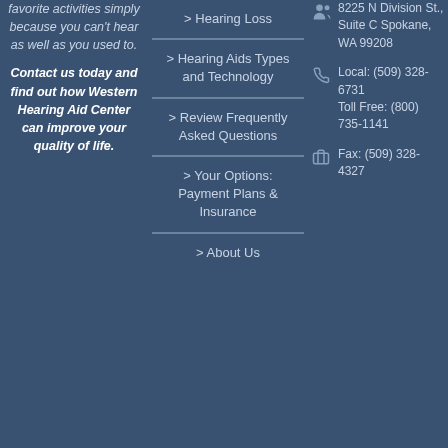favorite activities simply because you can't hear as well as you used to.
Contact us today and find out how Western Hearing Aid Center can improve your quality of life.
> Hearing Loss
> Hearing Aids Types and Technology
> Review Frequently Asked Questions
> Your Options: Payment Plans & Insurance
> About Us
8225 N Division St., Suite C Spokane, WA 99208
Local: (509) 328-6731 Toll Free: (800) 735-1141
Fax: (509) 328-4327